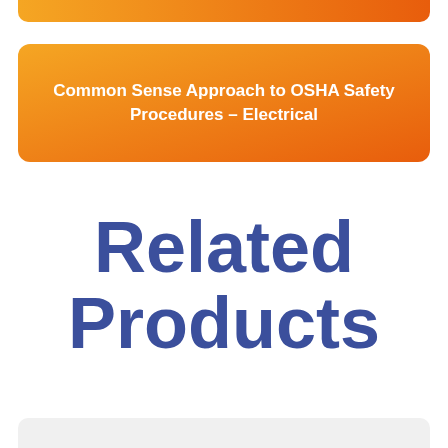[Figure (other): Top orange gradient bar at top of page]
Common Sense Approach to OSHA Safety Procedures – Electrical
Related Products
[Figure (other): Light gray bar at bottom of page]